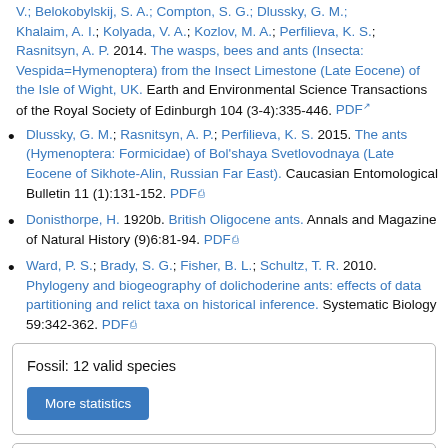V.; Belokobylskij, S. A.; Compton, S. G.; Dlussky, G. M.; Khalaim, A. I.; Kolyada, V. A.; Kozlov, M. A.; Perfilieva, K. S.; Rasnitsyn, A. P. 2014. The wasps, bees and ants (Insecta: Vespida=Hymenoptera) from the Insect Limestone (Late Eocene) of the Isle of Wight, UK. Earth and Environmental Science Transactions of the Royal Society of Edinburgh 104 (3-4):335-446. PDF
Dlussky, G. M.; Rasnitsyn, A. P.; Perfilieva, K. S. 2015. The ants (Hymenoptera: Formicidae) of Bol'shaya Svetlovodnaya (Late Eocene of Sikhote-Alin, Russian Far East). Caucasian Entomological Bulletin 11 (1):131-152. PDF
Donisthorpe, H. 1920b. British Oligocene ants. Annals and Magazine of Natural History (9)6:81-94. PDF
Ward, P. S.; Brady, S. G.; Fisher, B. L.; Schultz, T. R. 2010. Phylogeny and biogeography of dolichoderine ants: effects of data partitioning and relict taxa on historical inference. Systematic Biology 59:342-362. PDF
Fossil: 12 valid species
More statistics